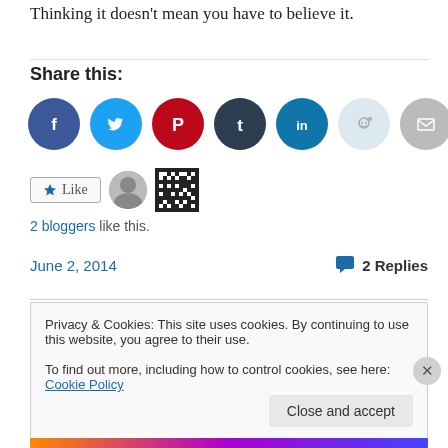Thinking it doesn’t mean you have to believe it.
Share this:
[Figure (infographic): Row of social sharing icon circles: Facebook (blue), Twitter (light blue), Pinterest (red), Tumblr (dark blue), LinkedIn (teal), Reddit (light grey), Email (grey), Print (grey)]
[Figure (infographic): Like widget with star button labeled Like, two blogger avatars (photo and QR pattern)]
2 bloggers like this.
June 2, 2014   •   2 Replies
Privacy & Cookies: This site uses cookies. By continuing to use this website, you agree to their use.
To find out more, including how to control cookies, see here: Cookie Policy